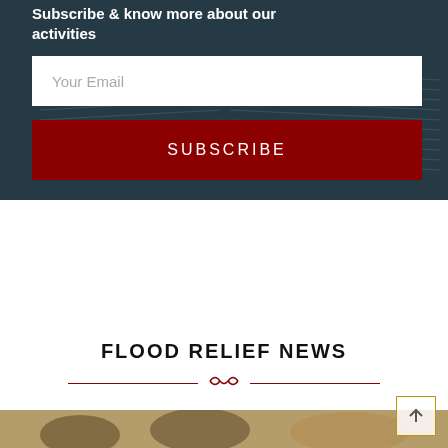Subscribe & know more about our activities
Your Email
SUBSCRIBE
[Figure (illustration): Decorative golden ornamental border band across the full width]
FLOOD RELIEF NEWS
[Figure (photo): Photo of people at bottom of page, partially cropped]